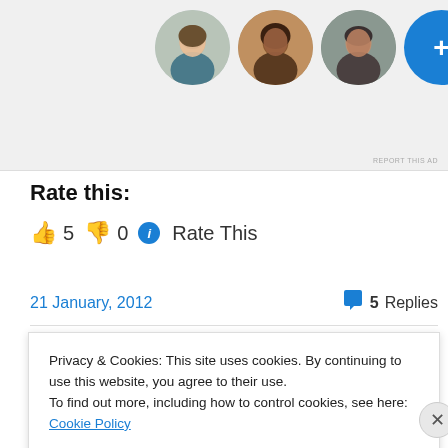[Figure (screenshot): Ad banner with three circular avatar photos and a blue plus button]
Rate this:
👍 5  👎 0  ℹ Rate This
21 January, 2012   💬 5 Replies
Speech by Hamilton West
Privacy & Cookies: This site uses cookies. By continuing to use this website, you agree to their use.
To find out more, including how to control cookies, see here: Cookie Policy